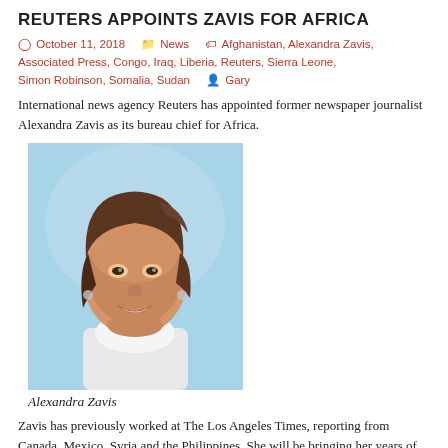REUTERS APPOINTS ZAVIS FOR AFRICA
October 11, 2018   News   Afghanistan, Alexandra Zavis, Associated Press, Congo, Iraq, Liberia, Reuters, Sierra Leone, Simon Robinson, Somalia, Sudan   Gary
International news agency Reuters has appointed former newspaper journalist Alexandra Zavis as its bureau chief for Africa.
[Figure (photo): Portrait photo of Alexandra Zavis, a woman with brown hair, smiling, against a light blue background.]
Alexandra Zavis
Zavis has previously worked at The Los Angeles Times, reporting from Canada, Mexico, Syria and the Philippines. She will be bringing her years of expertise as she prepares to lead an African newsgathering team that has grown in the last 18 years.
She started her career in 1994 at a South African newspaper after which she joined the Associated Press (AP) and engaged in